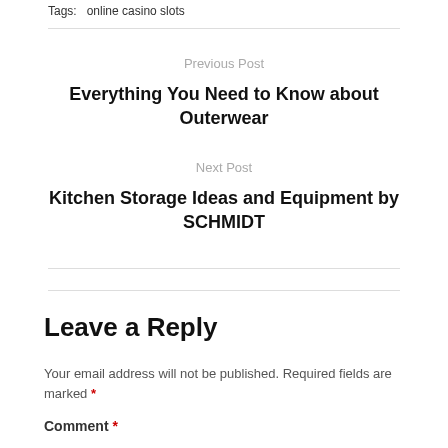Tags: online casino slots
Previous Post
Everything You Need to Know about Outerwear
Next Post
Kitchen Storage Ideas and Equipment by SCHMIDT
Leave a Reply
Your email address will not be published. Required fields are marked *
Comment *